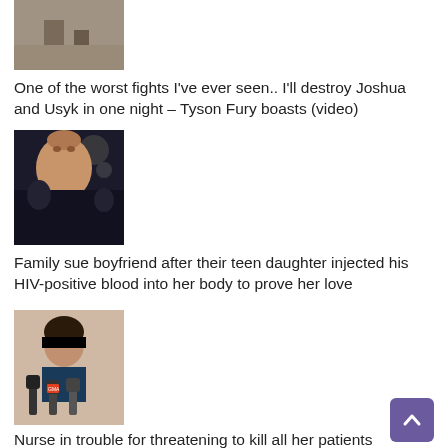[Figure (photo): Partial thumbnail photo at top of page, cropped view of a scene]
One of the worst fights I've ever seen.. I'll destroy Joshua and Usyk in one night – Tyson Fury boasts (video)
[Figure (photo): Photo of boxer Tyson Fury, shirtless, with tattoos, ringside background]
Family sue boyfriend after their teen daughter injected his HIV-positive blood into her body to prove her love
[Figure (photo): Photo of a young woman/teen being interviewed by journalists with microphones, eyes blacked out for anonymity]
Nurse in trouble for threatening to kill all her patients (video)